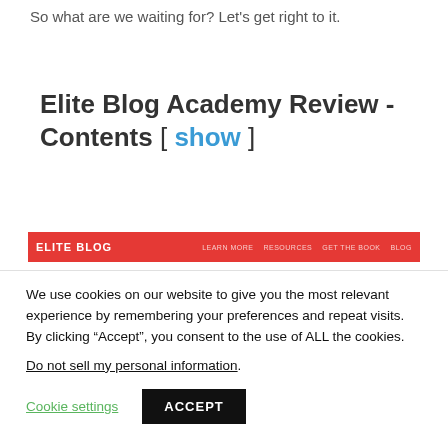So what are we waiting for? Let’s get right to it.
Elite Blog Academy Review - Contents [ show ]
[Figure (screenshot): Screenshot of Elite Blog Academy website navigation bar with red background showing logo and nav items: LEARN MORE, RESOURCES, GET THE BOOK, BLOG]
We use cookies on our website to give you the most relevant experience by remembering your preferences and repeat visits. By clicking “Accept”, you consent to the use of ALL the cookies.
Do not sell my personal information.
Cookie settings   ACCEPT